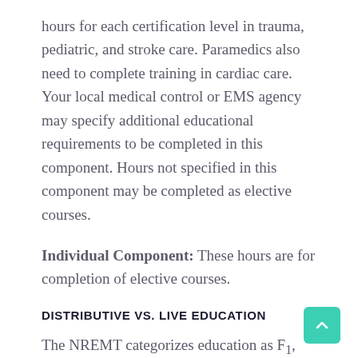hours for each certification level in trauma, pediatric, and stroke care. Paramedics also need to complete training in cardiac care. Your local medical control or EMS agency may specify additional educational requirements to be completed in this component. Hours not specified in this component may be completed as elective courses.
Individual Component: These hours are for completion of elective courses.
DISTRIBUTIVE VS. LIVE EDUCATION
The NREMT categorizes education as F1, F2, F3, and F5 (yup, F4 doesn't exist!)